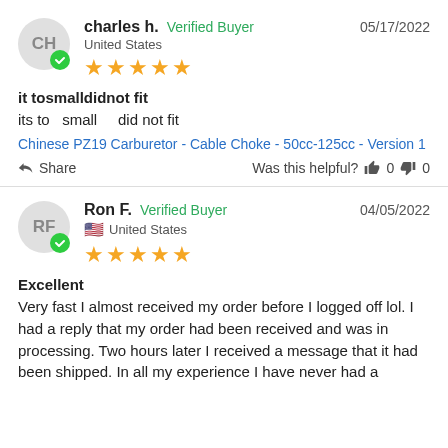charles h. — Verified Buyer — United States — 05/17/2022 — 5 stars
it tosmalldidnot fit
its to  small   did not fit
Chinese PZ19 Carburetor - Cable Choke - 50cc-125cc - Version 1
Share — Was this helpful? 👍 0 👎 0
Ron F. — Verified Buyer — United States — 04/05/2022 — 5 stars
Excellent
Very fast I almost received my order before I logged off lol. I had a reply that my order had been received and was in processing. Two hours later I received a message that it had been shipped. In all my experience I have never had a company that fast.